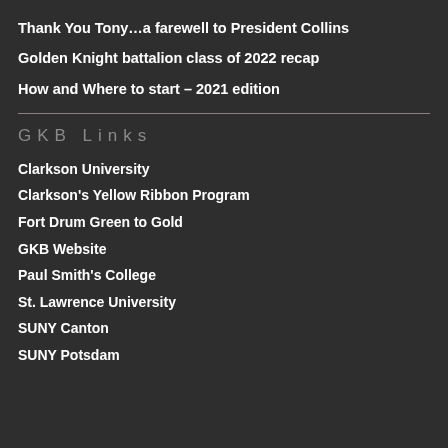Thank You Tony…a farewell to President Collins
Golden Knight battalion class of 2022 recap
How and Where to start – 2021 edition
GKB Links
Clarkson University
Clarkson's Yellow Ribbon Program
Fort Drum Green to Gold
GKB Website
Paul Smith's College
St. Lawrence University
SUNY Canton
SUNY Potsdam